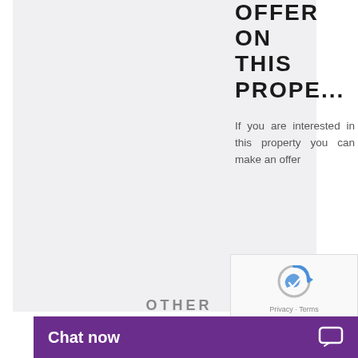[Figure (photo): Large grey placeholder image area for a property listing photo]
OFFER ON THIS PROPE...
If you are interested in this property you can make an offer
[Figure (other): reCAPTCHA widget showing the reCAPTCHA logo and Privacy - Terms links]
MAKE A
OTHER
Chat now